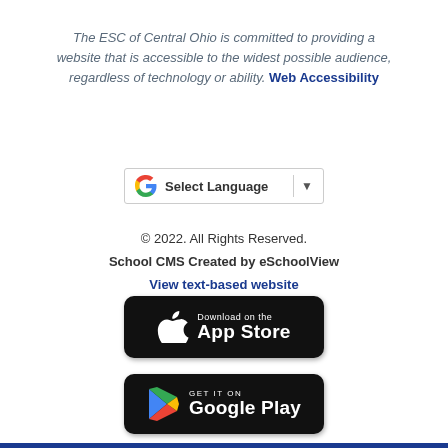The ESC of Central Ohio is committed to providing a website that is accessible to the widest possible audience, regardless of technology or ability. Web Accessibility
[Figure (screenshot): Google Translate widget with 'Select Language' label and dropdown arrow]
© 2022. All Rights Reserved.
School CMS Created by eSchoolView
View text-based website
[Figure (screenshot): Download on the App Store button (black rounded rectangle with Apple logo)]
[Figure (screenshot): Get it on Google Play button (black rounded rectangle with Google Play logo)]